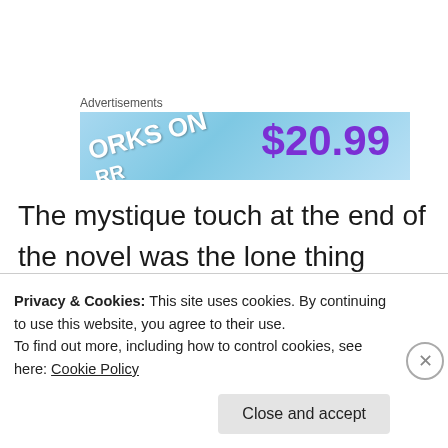Advertisements
[Figure (illustration): Advertisement banner with blue gradient background showing 'ORKS ON' text and '$20.99' price in purple]
The mystique touch at the end of the novel was the lone thing which I felt was out of sync with the rest of the book which does not have a super natural angle. (It might be just me). But then with Kings and Slaves dominating the story, the gods had to
Privacy & Cookies: This site uses cookies. By continuing to use this website, you agree to their use.
To find out more, including how to control cookies, see here: Cookie Policy
Close and accept